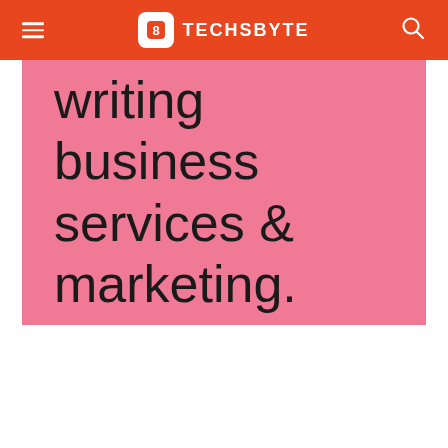TECHSBYTE
writing business services & marketing.